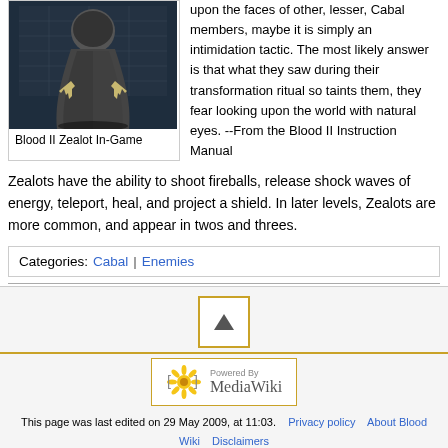[Figure (photo): Blood II Zealot In-Game screenshot showing a dark-robed figure with claws in a dark room]
Blood II Zealot In-Game
upon the faces of other, lesser, Cabal members, maybe it is simply an intimidation tactic. The most likely answer is that what they saw during their transformation ritual so taints them, they fear looking upon the world with natural eyes. --From the Blood II Instruction Manual
Zealots have the ability to shoot fireballs, release shock waves of energy, teleport, heal, and project a shield. In later levels, Zealots are more common, and appear in twos and threes.
Categories: Cabal | Enemies
[Figure (logo): Powered by MediaWiki badge with sunflower logo]
This page was last edited on 29 May 2009, at 11:03.   Privacy policy   About Blood Wiki   Disclaimers